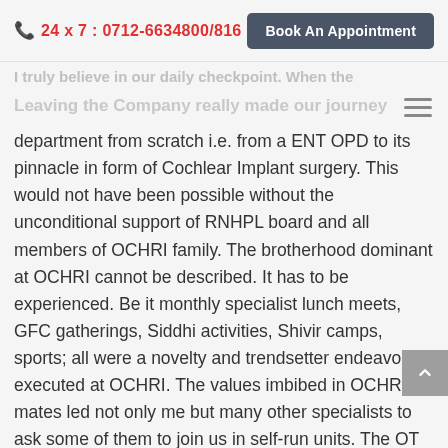24 x 7 : 0712-6634800/816 | Book An Appointment
department from scratch i.e. from a ENT OPD to its pinnacle in form of Cochlear Implant surgery. This would not have been possible without the unconditional support of RNHPL board and all members of OCHRI family. The brotherhood dominant at OCHRI cannot be described. It has to be experienced. Be it monthly specialist lunch meets, GFC gatherings, Siddhi activities, Shivir camps, sports; all were a novelty and trendsetter endeavors executed at OCHRI. The values imbibed in OCHRI mates led not only me but many other specialists to ask some of them to join us in self-run units. The OT Technicians trained at OCHRI are in demand throughout Central India.